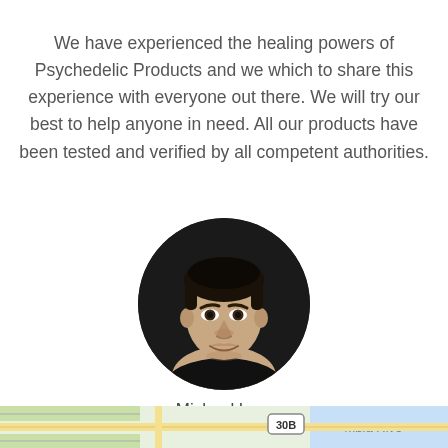We have experienced the healing powers of Psychedelic Products and we which to share this experience with everyone out there. We will try our best to help anyone in need. All our products have been tested and verified by all competent authorities.
[Figure (photo): Circular cropped portrait photo of a young man with dark hair wearing a black shirt, smiling slightly, on a white background.]
Micheal hser
Sales Manager
[Figure (map): Partial map strip at bottom of page showing roads, a river labeled 'mbia Rive', and a road marker '30B'.]